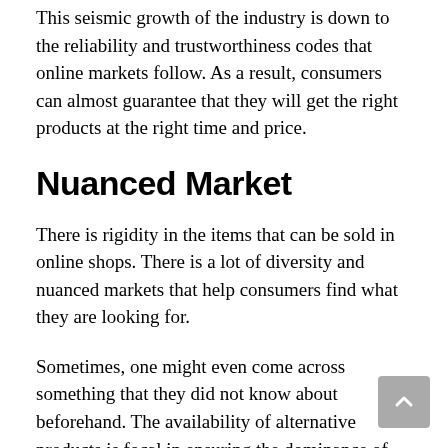This seismic growth of the industry is down to the reliability and trustworthiness codes that online markets follow. As a result, consumers can almost guarantee that they will get the right products at the right time and price.
Nuanced Market
There is rigidity in the items that can be sold in online shops. There is a lot of diversity and nuanced markets that help consumers find what they are looking for.
Sometimes, one might even come across something that they did not know about beforehand. The availability of alternative products is focal in ensuring the dominance of online...